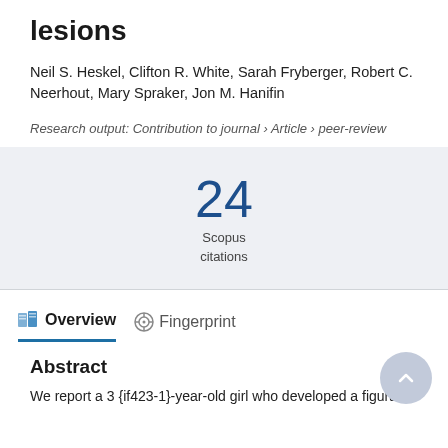lesions
Neil S. Heskel, Clifton R. White, Sarah Fryberger, Robert C. Neerhout, Mary Spraker, Jon M. Hanifin
Research output: Contribution to journal › Article › peer-review
24 Scopus citations
Overview
Fingerprint
Abstract
We report a 3 {if423-1}-year-old girl who developed a figurate erythema suggesting Biottin-…